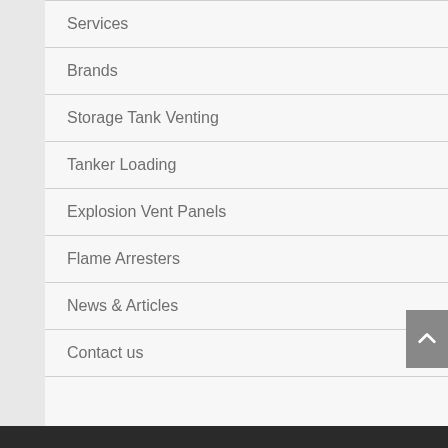Services
Brands
Storage Tank Venting
Tanker Loading
Explosion Vent Panels
Flame Arresters
News & Articles
Contact us